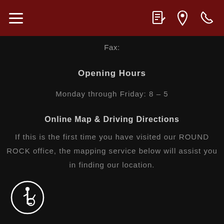Navigation header with menu, document, location, and phone icons
Fax:
Opening Hours
Monday through Friday:  8 – 5
Online Map & Driving Directions
If this is the first time you have visited our ROUND ROCK office, the mapping service below will assist you in finding our location.
[Figure (illustration): Accessibility wheelchair icon badge in white circle outline on dark background]